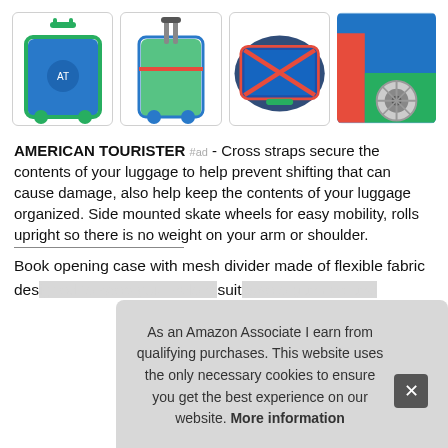[Figure (photo): Four product images of American Tourister kids luggage: front view blue/green suitcase, back view with red strap, open case showing interior with red cross straps and blue lining, and close-up of wheels]
AMERICAN TOURISTER #ad - Cross straps secure the contents of your luggage to help prevent shifting that can cause damage, also help keep the contents of your luggage organized. Side mounted skate wheels for easy mobility, rolls upright so there is no weight on your arm or shoulder.
Book opening case with mesh divider made of flexible fabric des[igned to fit items] suit[ably]...
As an Amazon Associate I earn from qualifying purchases. This website uses the only necessary cookies to ensure you get the best experience on our website. More information